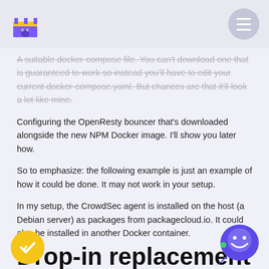A suitable docker-compose file. You can't download one that is guaranteed to work so instead you'll have to edit your current docker-compose.yaml. But chances are that it'll look a lot like mine.
Configuring the OpenResty bouncer that’s downloaded alongside the new NPM Docker image. I’ll show you later how.
So to emphasize: the following example is just an example of how it could be done. It may not work in your setup.
In my setup, the CrowdSec agent is installed on the host (a Debian server) as packages from packagecloud.io. It could also be installed in another Docker container.
Drop-in replacement